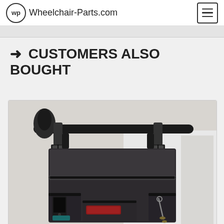Wheelchair-Parts.com
→ CUSTOMERS ALSO BOUGHT
[Figure (photo): A black wheelchair back bag with multiple pockets and compartments, attached to a wheelchair via straps. The bag has a main compartment with zipper, side pockets containing items like a phone/remote and keys, and a front pocket with a red item visible. The bag is mounted to a wheelchair's push handles.]